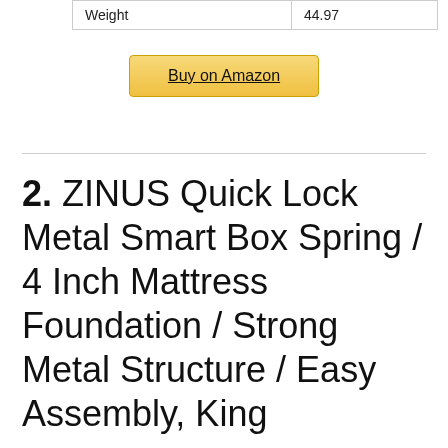| Weight | 44.97 |
Buy on Amazon
2. ZINUS Quick Lock Metal Smart Box Spring / 4 Inch Mattress Foundation / Strong Metal Structure / Easy Assembly, King